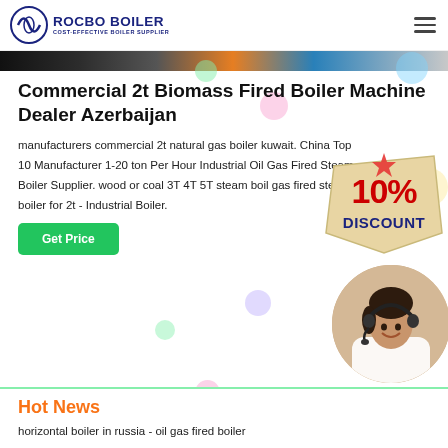ROCBO BOILER - COST-EFFECTIVE BOILER SUPPLIER
[Figure (photo): Banner strip showing industrial/boiler related imagery]
Commercial 2t Biomass Fired Boiler Machine Dealer Azerbaijan
manufacturers commercial 2t natural gas boiler kuwait. China Top 10 Manufacturer 1-20 ton Per Hour Industrial Oil Gas Fired Steam Boiler Supplier. wood or coal 3T 4T 5T steam boil gas fired steam boiler for 2t - Industrial Boiler.
[Figure (illustration): 10% DISCOUNT badge graphic]
[Figure (photo): Customer service representative woman wearing headset, circular crop]
Hot News
horizontal boiler in russia - oil gas fired boiler